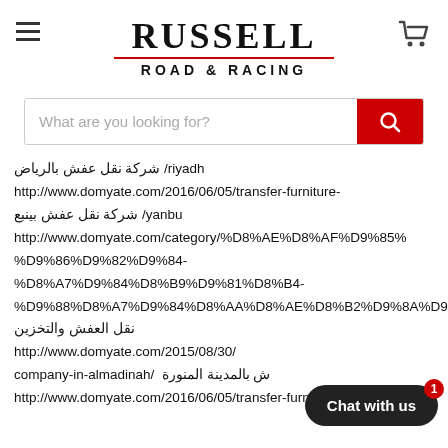RUSSELL
ROAD & RACING
[Figure (screenshot): Search bar with placeholder text 'What are you looking for?' and a red search button with magnifying glass icon]
شركة نقل عفش بالرياض /riyadh
http://www.domyate.com/2016/06/05/transfer-furniture-
شركة نقل عفش بينبع /yanbu
http://www.domyate.com/category/%D8%AE%D8%AF%D9%85%
%D9%86%D9%82%D9%84-
%D8%A7%D9%84%D8%B9%D9%81%D8%B4-
%D9%88%D8%A7%D9%84%D8%AA%D8%AE%D8%B2%D9%8A
نقل العفش والتخزين
http://www.domyate.com/2015/08/30/
company-in-almadinah/ ش بالمدينة المنورة
http://www.domyate.com/2016/06/05/transfer-furniture-